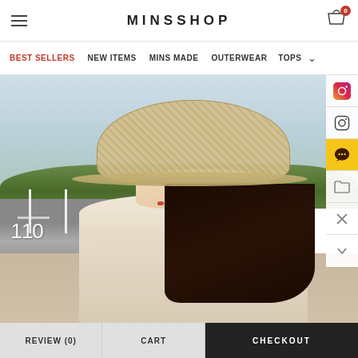MINSSHOP
BEST SELLERS  NEW ITEMS  MINS MADE  OUTERWEAR  TOPS
[Figure (photo): A woman wearing a woven straw bucket hat and a light beige top, sitting outdoors near a road with stone walls and green shrubbery in the background. A sign with '110' is visible on the left.]
REVIEW (0)   CART   CHECKOUT